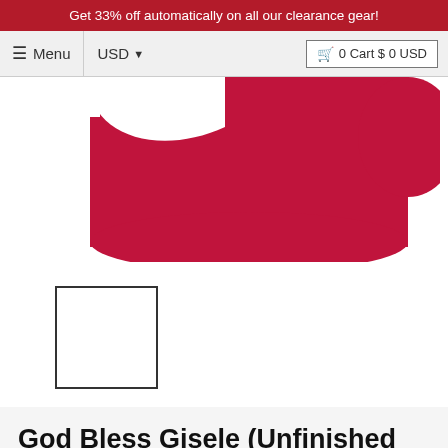Get 33% off automatically on all our clearance gear!
≡ Menu   USD ▾   🛒 0 Cart $ 0 USD
[Figure (photo): Close-up photo of a red garment (shirt or jersey) showing the front body and one sleeve, cropped at top. The garment is crimson/dark red.]
[Figure (photo): Small thumbnail image of the same red garment, shown in a bordered square thumbnail selector.]
God Bless Gisele (Unfinished